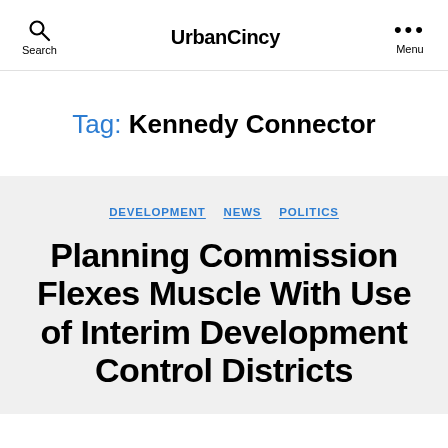UrbanCincy
Tag: Kennedy Connector
DEVELOPMENT  NEWS  POLITICS
Planning Commission Flexes Muscle With Use of Interim Development Control Districts